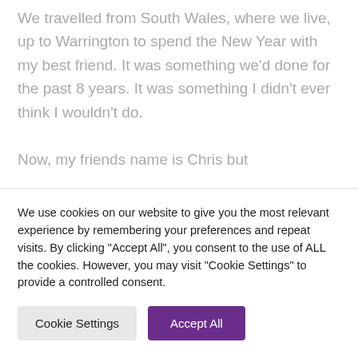We travelled from South Wales, where we live, up to Warrington to spend the New Year with my best friend. It was something we'd done for the past 8 years. It was something I didn't ever think I wouldn't do.

Now, my friends name is Chris but
We use cookies on our website to give you the most relevant experience by remembering your preferences and repeat visits. By clicking "Accept All", you consent to the use of ALL the cookies. However, you may visit "Cookie Settings" to provide a controlled consent.